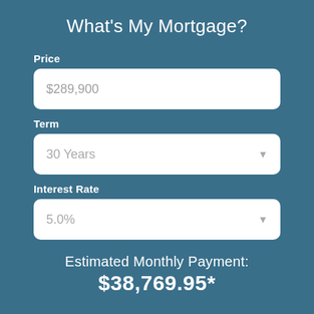What's My Mortgage?
Price
$289,900
Term
30 Years
Interest Rate
5.0%
Estimated Monthly Payment:
$38,769.95*